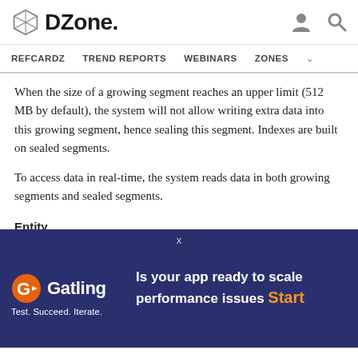DZone. REFCARDZ  TREND REPORTS  WEBINARS  ZONES
When the size of a growing segment reaches an upper limit (512 MB by default), the system will not allow writing extra data into this growing segment, hence sealing this segment. Indexes are built on sealed segments.
To access data in real-time, the system reads data in both growing segments and sealed segments.
Entity
Each segment contains a massive amount of entities. An entity in Milvus is equivalent to a row in a traditional database. Each entity has a unique primary key field, which can also be automatically generated. Entities mu...
[Figure (screenshot): Gatling advertisement banner on dark blue/purple background. Shows Gatling logo with text 'Test. Succeed. Iterate.' and tagline 'Is your app ready to scale performance issues Start']
plan to release this Milvus Deep Dive blog series, aiming to provide the community with an in-depth interpretation of the Milvus architecture and...